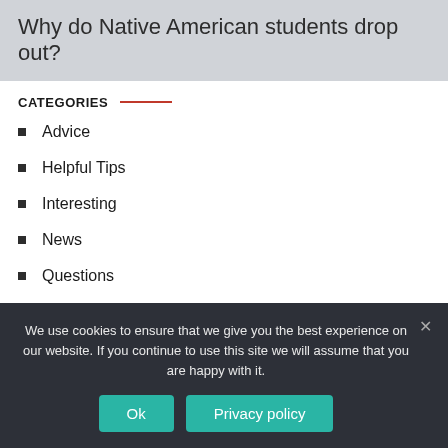Why do Native American students drop out?
CATEGORIES
Advice
Helpful Tips
Interesting
News
Questions
Recommendations
We use cookies to ensure that we give you the best experience on our website. If you continue to use this site we will assume that you are happy with it.
Ok
Privacy policy